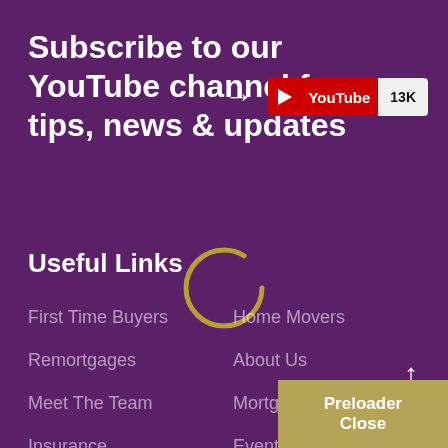Subscribe to our YouTube channel for tips, news & updates
[Figure (logo): YouTube subscribe badge with red play button, 'YouTube' label, and '13K' subscriber count on grey background]
Useful Links
[Figure (other): Loading spinner circle in gold/dark yellow color]
First Time Buyers
Home Movers
Remortgages
About Us
Meet The Team
Mortgages
Insurance
Events
TOP
Preloader Close